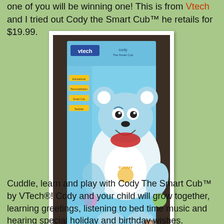one of you will be winning one! This is from Vtech and I tried out Cody the Smart Cub™ he retails for $19.99.
[Figure (photo): Photo of Cody the Smart Cub toy by VTech in its retail box. The box shows a blue stuffed bear cub with a white tummy labeled 'TUMMY', sitting in a light blue retail box with the VTech logo. The box reads 'Cody The Smart Cub' at the bottom.]
Cuddle, learn and play with Cody The Smart Cub™ by VTech®! Cody and your child will grow together, learning greetings, listening to bed time music and hearing special holiday and birthday wishes. Personalize Cody through VTech's Learning Lodge™ with your child's name, favorite animal, color and...